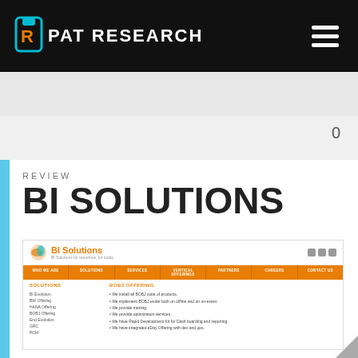PAT RESEARCH
0
REVIEW
BI SOLUTIONS
[Figure (screenshot): Screenshot of BI Solutions website showing logo, navigation bar with WHO WE ARE, SOLUTIONS, SERVICES, VERTICAL OFFERINGS, PARTNERS, CAREERS, CONTACT US, and content sections SOLUTIONS and BOBJ OFFERING with bullet lists.]
SOLUTIONS: BI Evolution, BW Offering, HANA Offering, BOBJ Offering, End Evolution, GRC, PCM
BOBJ OFFERING: We install all BOBJ suite of products. We implement BOBJ under both on offline and on on-event. We provide training. We provide optimization services. We have Rapid Development Kit for Dash boarding and reporting. We have integrated eDay Offering with dev and ops.